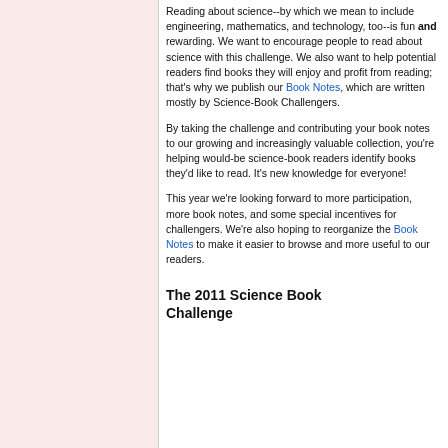Reading about science--by which we mean to include engineering, mathematics, and technology, too--is fun and rewarding. We want to encourage people to read about science with this challenge. We also want to help potential readers find books they will enjoy and profit from reading; that's why we publish our Book Notes, which are written mostly by Science-Book Challengers.
By taking the challenge and contributing your book notes to our growing and increasingly valuable collection, you're helping would-be science-book readers identify books they'd like to read. It's new knowledge for everyone!
This year we're looking forward to more participation, more book notes, and some special incentives for challengers. We're also hoping to reorganize the Book Notes to make it easier to browse and more useful to our readers.
The 2011 Science Book Challenge